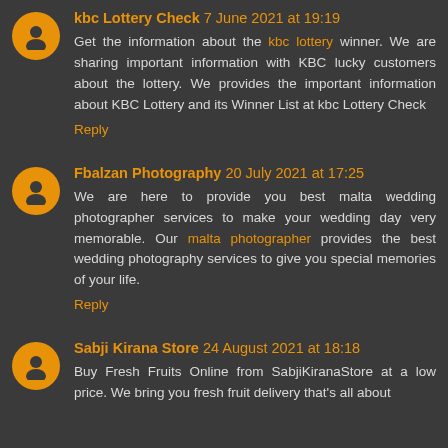kbc Lottery Check 7 June 2021 at 19:19
Get the information about the kbc lottery winner. We are sharing important information with KBC lucky customers about the lottery. We provides the important information about KBC Lottery and its Winner List at kbc Lottery Check
Reply
Fbalzan Photography 20 July 2021 at 17:25
We are here to provide you best malta wedding photographer services to make your wedding day very memorable. Our malta photographer provides the best wedding photography services to give you special memories of your life.
Reply
Sabji Kirana Store 24 August 2021 at 18:18
Buy Fresh Fruits Online from SabjiKiranaStore at a low price. We bring you fresh fruit delivery that's all about